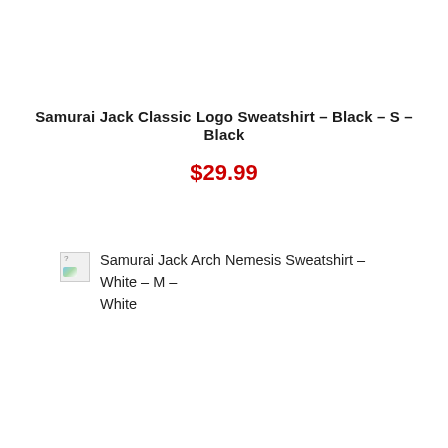Samurai Jack Classic Logo Sweatshirt – Black – S – Black
$29.99
[Figure (other): Broken image placeholder icon followed by product title text: Samurai Jack Arch Nemesis Sweatshirt – White – M – White]